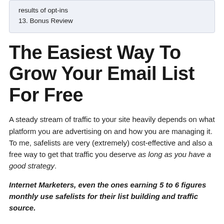results of opt-ins
13. Bonus Review
The Easiest Way To Grow Your Email List For Free
A steady stream of traffic to your site heavily depends on what platform you are advertising on and how you are managing it. To me, safelists are very (extremely) cost-effective and also a free way to get that traffic you deserve as long as you have a good strategy.
Internet Marketers, even the ones earning 5 to 6 figures monthly use safelists for their list building and traffic source.